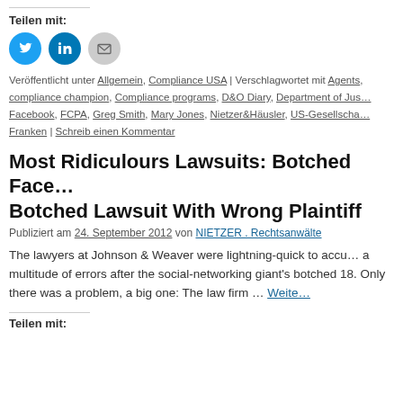Teilen mit:
[Figure (infographic): Three social sharing icon circles: Twitter (blue), LinkedIn (blue), Email (gray)]
Veröffentlicht unter Allgemein, Compliance USA | Verschlagwortet mit Agents, compliance champion, Compliance programs, D&O Diary, Department of Justice, Facebook, FCPA, Greg Smith, Mary Jones, Nietzer&Häusler, US-Gesellschaften in Franken | Schreib einen Kommentar
Most Ridiculours Lawsuits: Botched Facebook IPO & Botched Lawsuit With Wrong Plaintiff
Publiziert am 24. September 2012 von NIETZER . Rechtsanwälte
The lawyers at Johnson & Weaver were lightning-quick to accuse Facebook of a multitude of errors after the social-networking giant's botched IPO on May 18. Only there was a problem, a big one: The law firm … Weiter
Teilen mit: